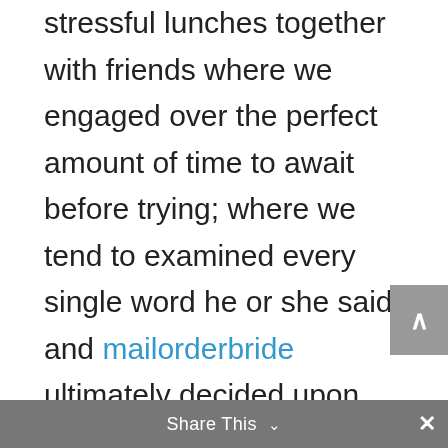stressful lunches together with friends where we engaged over the perfect amount of time to await before trying; where we tend to examined every single word he or she said and mailorderbride ultimately decided upon the fact that having been just petrified, or perplexed, or what ever — anything but clear in the own determination. I bought meditation unconstrained. I biked everywhere. Hurt the gym using renewed push. And then My partner and i wrote mail — draw up after write documenting the reasons why we belonged together. Many were poetic and some strong, some included
Share This